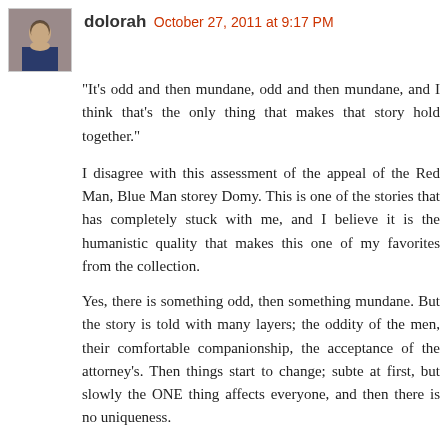[Figure (photo): Small square avatar photo of a woman]
dolorah  October 27, 2011 at 9:17 PM
"It's odd and then mundane, odd and then mundane, and I think that's the only thing that makes that story hold together."
I disagree with this assessment of the appeal of the Red Man, Blue Man storey Domy. This is one of the stories that has completely stuck with me, and I believe it is the humanistic quality that makes this one of my favorites from the collection.
Yes, there is something odd, then something mundane. But the story is told with many layers; the oddity of the men, their comfortable companionship, the acceptance of the attorney's. Then things start to change; subte at first, but slowly the ONE thing affects everyone, and then there is no uniqueness.
Hmm, maybe that is the same as the odd, mundane concept. What I loved about the story was the loss of that uniqueness; how one small change could escalate and affect so many people, without changing the essence of the event itself.
I work in a county agency, and yeah, sometimes it only takes the change in one employee to affect the entire unit either positively